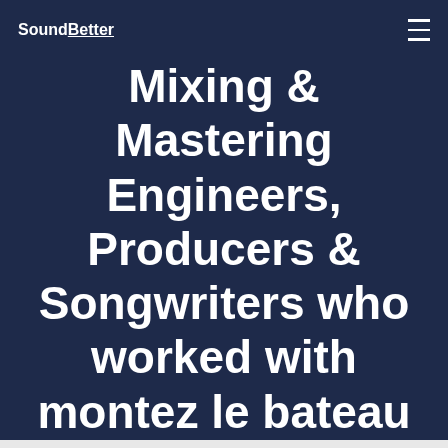SoundBetter
Mixing & Mastering Engineers, Producers & Songwriters who worked with montez le bateau